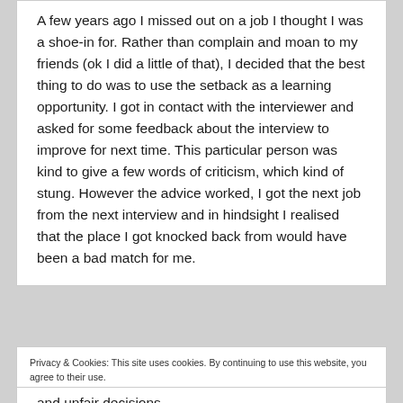A few years ago I missed out on a job I thought I was a shoe-in for. Rather than complain and moan to my friends (ok I did a little of that), I decided that the best thing to do was to use the setback as a learning opportunity. I got in contact with the interviewer and asked for some feedback about the interview to improve for next time. This particular person was kind to give a few words of criticism, which kind of stung. However the advice worked, I got the next job from the next interview and in hindsight I realised that the place I got knocked back from would have been a bad match for me.
Privacy & Cookies: This site uses cookies. By continuing to use this website, you agree to their use.
To find out more, including how to control cookies, see here: Cookie Policy
and unfair decisions.